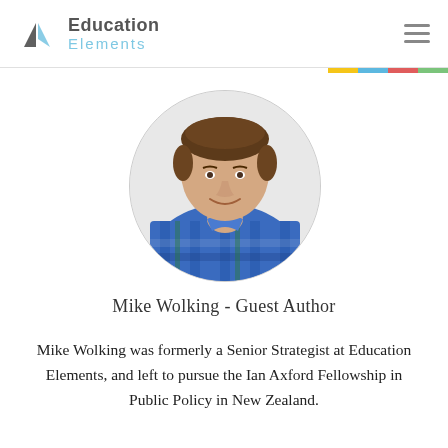Education Elements
[Figure (photo): Circular profile photo of Mike Wolking, a young man with short brown hair wearing a blue plaid shirt, smiling against a white background.]
Mike Wolking - Guest Author
Mike Wolking was formerly a Senior Strategist at Education Elements, and left to pursue the Ian Axford Fellowship in Public Policy in New Zealand.